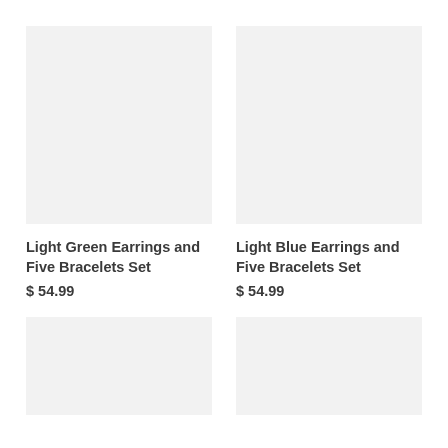[Figure (photo): Product image placeholder for Light Green Earrings and Five Bracelets Set — light gray rectangle]
[Figure (photo): Product image placeholder for Light Blue Earrings and Five Bracelets Set — light gray rectangle]
Light Green Earrings and Five Bracelets Set
$ 54.99
Light Blue Earrings and Five Bracelets Set
$ 54.99
[Figure (photo): Product image placeholder — light gray rectangle (bottom left, partially visible)]
[Figure (photo): Product image placeholder — light gray rectangle (bottom right, partially visible)]